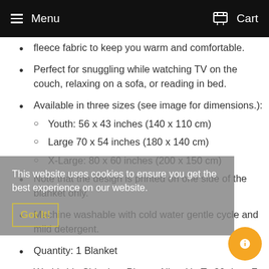Menu  Cart
fleece fabric to keep you warm and comfortable.
Perfect for snuggling while watching TV on the couch, relaxing on a sofa, or reading in bed.
Available in three sizes (see image for dimensions.):
Youth: 56 x 43 inches (140 x 110 cm)
Large 70 x 54 inches (180 x 140 cm)
X-Large: 80 x 60 inches (200 x 150 cm)
Note that the design is printed on one side of the blanket only.
Machine washable with cold water gentle cycle and mild detergent.
Quantity: 1 Blanket
Worldwide Shipping: Please Allow Up To 30 days For Your Delivery.
This website uses cookies to ensure you get the best experience on our website. Got It!